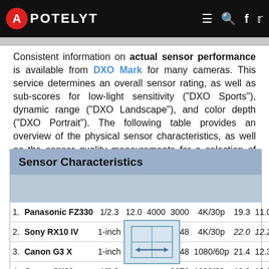APOTELYT
Consistent information on actual sensor performance is available from DXO Mark for many cameras. This service determines an overall sensor rating, as well as sub-scores for low-light sensitivity ("DXO Sports"), dynamic range ("DXO Landscape"), and color depth ("DXO Portrait"). The following table provides an overview of the physical sensor characteristics, as well as the sensor quality measurements for a selection of comparators.
| # | Camera | Sensor | MP | W | H | Video | DXO | Portrait |
| --- | --- | --- | --- | --- | --- | --- | --- | --- |
| 1. | Panasonic FZ330 | 1/2.3 | 12.0 | 4000 | 3000 | 4K/30p | 19.3 | 11.0 |
| 2. | Sony RX10 IV | 1-inch | 20.0 | 5472 | 3648 | 4K/30p | 22.0 | 12.2 |
| 3. | Canon G3 X | 1-inch |  | 3648 | 1080/60p | 21.4 | 12.3 |
| 4. | Canon SX60 | 1/2.3 |  | 3072 | 1080/60p | 19.2 | 10.8 |